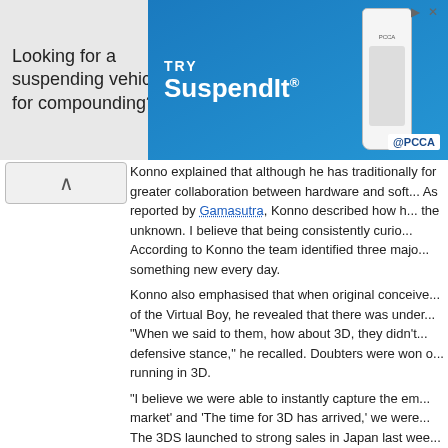[Figure (infographic): Advertisement banner: 'Looking for a suspending vehicle for compounding?' with TRY SuspendIt brand and PCCA logo and bottle image]
Konno explained that although he has traditionally for greater collaboration between hardware and soft... As reported by Gamasutra, Konno described how h... the unknown. I believe that being consistently curio... According to Konno the team identified three majo... something new every day.
Konno also emphasised that when original conceive... of the Virtual Boy, he revealed that there was under... "When we said to them, how about 3D, they didn't... defensive stance," he recalled. Doubters were won o... running in 3D.
"I believe we were able to instantly capture the em... market' and 'The time for 3D has arrived,' we were... The 3DS launched to strong sales in Japan last wee...
http://www.gamesindustry.biz/article...otential-of-3...
To read more of the post and Download, cli...
Join In and Discuss Here
Submit News and Releases Here and Contact...